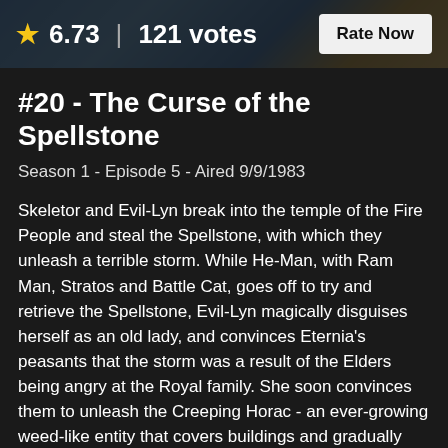[Figure (illustration): Top banner image showing an animated scene with colorful characters]
★ 6.73 | 121 votes
Rate Now
#20 - The Curse of the Spellstone
Season 1 - Episode 5 - Aired 9/9/1983
Skeletor and Evil-Lyn break into the temple of the Fire People and steal the Spellstone, with which they unleash a terrible storm. While He-Man, with Ram Man, Stratos and Battle Cat, goes off to try and retrieve the Spellstone, Evil-Lyn magically disguises herself as an old lady, and convinces Eternia's peasants that the storm was a result of the Elders being angry at the Royal family. She soon convinces them to unleash the Creeping Horac - an ever-growing weed-like entity that covers buildings and gradually sucks away the air - onto the Royal Palace...